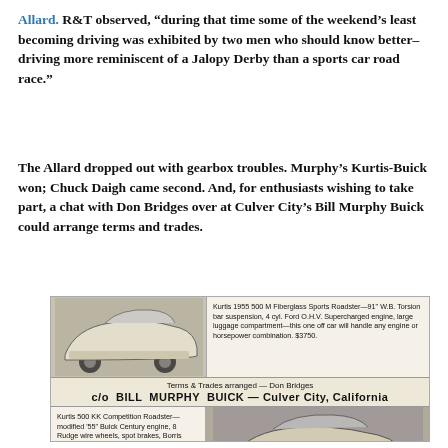Allard. R&T observed, "during that time some of the weekend's least becoming driving was exhibited by two men who should know better–driving more reminiscent of a Jalopy Derby than a sports car road race."
The Allard dropped out with gearbox troubles. Murphy's Kurtis-Buick won; Chuck Daigh came second. And, for enthusiasts wishing to take part, a chat with Don Bridges over at Culver City's Bill Murphy Buick could arrange terms and trades.
[Figure (other): Vintage advertisement for Bill Murphy Buick, Culver City, California. Features two sports car photos and text: Kurtis 1955 500 M Fiberglass Sports Roadster details ($3750) and Kurtis 500 KK Competition Roadster details ($6500.00). Terms & Trades arranged by Don Bridges.]